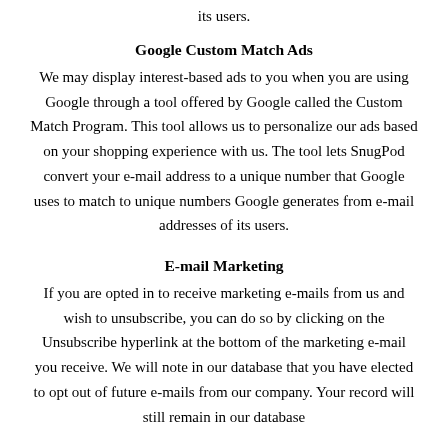its users.
Google Custom Match Ads
We may display interest-based ads to you when you are using Google through a tool offered by Google called the Custom Match Program. This tool allows us to personalize our ads based on your shopping experience with us. The tool lets SnugPod convert your e-mail address to a unique number that Google uses to match to unique numbers Google generates from e-mail addresses of its users.
E-mail Marketing
If you are opted in to receive marketing e-mails from us and wish to unsubscribe, you can do so by clicking on the Unsubscribe hyperlink at the bottom of the marketing e-mail you receive. We will note in our database that you have elected to opt out of future e-mails from our company. Your record will still remain in our database